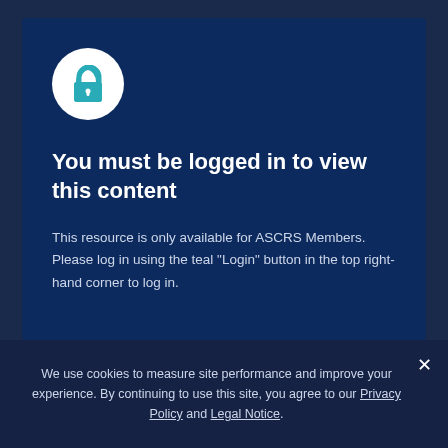[Figure (illustration): White circle with a teal padlock icon in the center]
You must be logged in to view this content
This resource is only available for ASCRS Members. Please log in using the teal "Login" button in the top right-hand corner to log in.
We use cookies to measure site performance and improve your experience. By continuing to use this site, you agree to our Privacy Policy and Legal Notice.